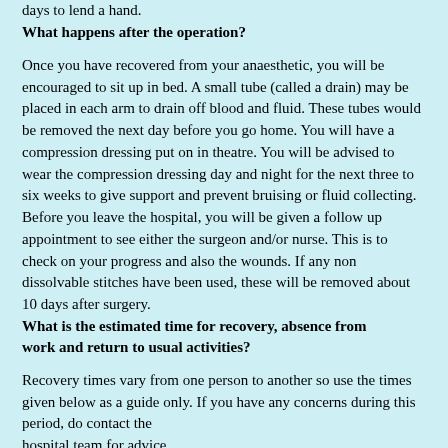days to lend a hand.
What happens after the operation?
Once you have recovered from your anaesthetic, you will be encouraged to sit up in bed. A small tube (called a drain) may be placed in each arm to drain off blood and fluid. These tubes would be removed the next day before you go home. You will have a compression dressing put on in theatre. You will be advised to wear the compression dressing day and night for the next three to six weeks to give support and prevent bruising or fluid collecting. Before you leave the hospital, you will be given a follow up appointment to see either the surgeon and/or nurse. This is to check on your progress and also the wounds. If any non dissolvable stitches have been used, these will be removed about 10 days after surgery.
What is the estimated time for recovery, absence from work and return to usual activities?
Recovery times vary from one person to another so use the times given below as a guide only. If you have any concerns during this period, do contact the hospital team for advice.